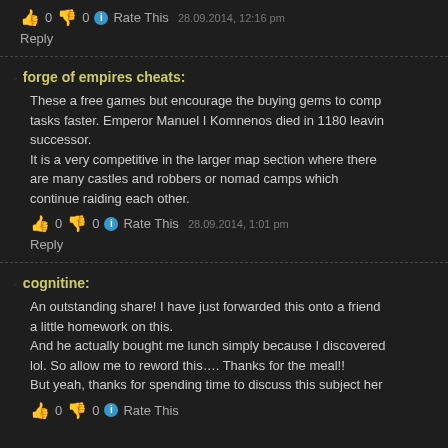👍 0 👎 0 ℹ Rate This  28.09.2014, 12:16 pm
Reply
forge of empires cheats: These a free games but encourage the buying gems to comp tasks faster. Emperor Manuel I Komnenos died in 1180 leavin successor. It is a very competitive in the larger map section where there are many castles and robbers or nomad camps which continue raiding each other.
👍 0 👎 0 ℹ Rate This  28.09.2014, 1:01 pm
Reply
cognitine: An outstanding share! I have just forwarded this onto a friend a little homework on this. And he actually bought me lunch simply because I discovered lol. So allow me to reword this…. Thanks for the meal!! But yeah, thanks for spending time to discuss this subject her
👍 0 👎 0 ℹ Rate This